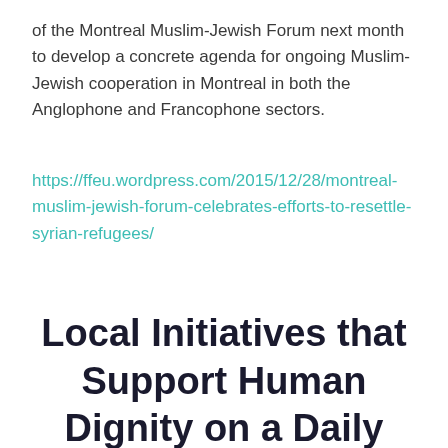of the Montreal Muslim-Jewish Forum next month to develop a concrete agenda for ongoing Muslim-Jewish cooperation in Montreal in both the Anglophone and Francophone sectors.
https://ffeu.wordpress.com/2015/12/28/montreal-muslim-jewish-forum-celebrates-efforts-to-resettle-syrian-refugees/
Local Initiatives that Support Human Dignity on a Daily Basis